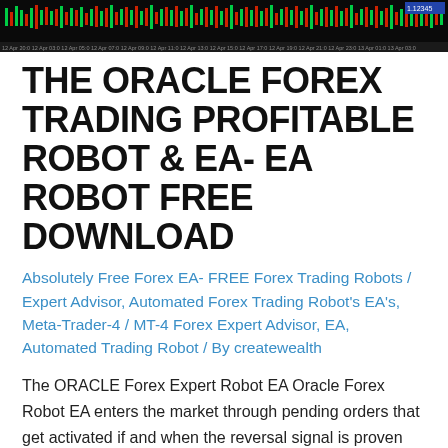[Figure (screenshot): Forex trading chart screenshot showing candlestick or bar chart data with colored indicators and timestamps along the x-axis]
THE ORACLE FOREX TRADING PROFITABLE ROBOT & EA- EA ROBOT FREE DOWNLOAD
Absolutely Free Forex EA- FREE Forex Trading Robots / Expert Advisor, Automated Forex Trading Robot's EA's, Meta-Trader-4 / MT-4 Forex Expert Advisor, EA, Automated Trading Robot / By createwealth
The ORACLE Forex Expert Robot EA Oracle Forex Robot EA enters the market through pending orders that get activated if and when the reversal signal is proven WRONG. During our Back-test, we increased our account to 250% Profit in 6 Months, Max Drawdown of 25% Strategy and Signal analysis using Bollinger Bands